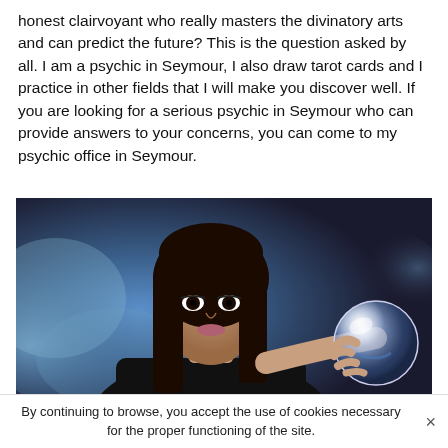honest clairvoyant who really masters the divinatory arts and can predict the future? This is the question asked by all. I am a psychic in Seymour, I also draw tarot cards and I practice in other fields that I will make you discover well. If you are looking for a serious psychic in Seymour who can provide answers to your concerns, you can come to my psychic office in Seymour.
[Figure (photo): A woman with dark hair and dramatic makeup wearing black clothing, holding a crystal ball, photographed against a dark blue smoky background.]
By continuing to browse, you accept the use of cookies necessary for the proper functioning of the site.